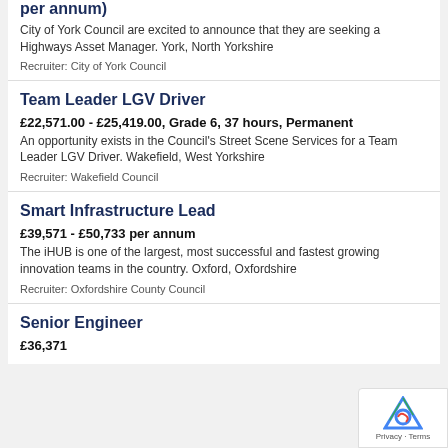per annum)
City of York Council are excited to announce that they are seeking a Highways Asset Manager. York, North Yorkshire
Recruiter: City of York Council
Team Leader LGV Driver
£22,571.00 - £25,419.00, Grade 6, 37 hours, Permanent
An opportunity exists in the Council's Street Scene Services for a Team Leader LGV Driver. Wakefield, West Yorkshire
Recruiter: Wakefield Council
Smart Infrastructure Lead
£39,571 - £50,733 per annum
The iHUB is one of the largest, most successful and fastest growing innovation teams in the country. Oxford, Oxfordshire
Recruiter: Oxfordshire County Council
Senior Engineer
£36,371